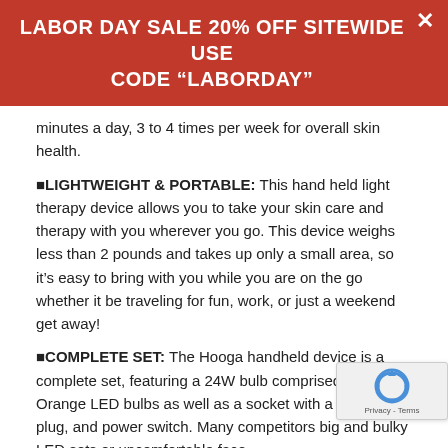LABOR DAY SALE 20% OFF SITEWIDE USE CODE “LABORDAY”
minutes a day, 3 to 4 times per week for overall skin health.
•LIGHTWEIGHT & PORTABLE: This hand held light therapy device allows you to take your skin care and therapy with you wherever you go. This device weighs less than 2 pounds and takes up only a small area, so it’s easy to bring with you while you are on the go whether it be traveling for fun, work, or just a weekend get away!
•COMPLETE SET: The Hooga handheld device is a complete set, featuring a 24W bulb comprised of 12 Orange LED bulbs as well as a socket with a bra cord, plug, and power switch. Many competitors big and bulky LED sets or uncomfortable face